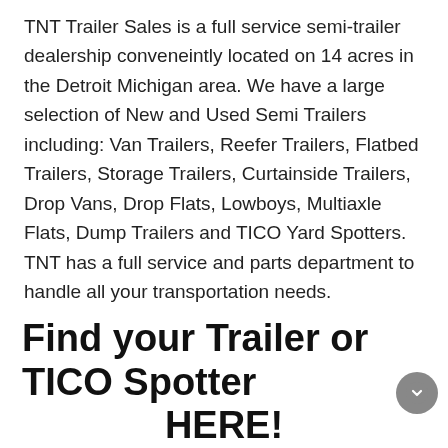TNT Trailer Sales is a full service semi-trailer dealership conveneintly located on 14 acres in the Detroit Michigan area. We have a large selection of New and Used Semi Trailers including: Van Trailers, Reefer Trailers, Flatbed Trailers, Storage Trailers, Curtainside Trailers, Drop Vans, Drop Flats, Lowboys, Multiaxle Flats, Dump Trailers and TICO Yard Spotters. TNT has a full service and parts department to handle all your transportation needs.
Find your Trailer or TICO Spotter HERE!